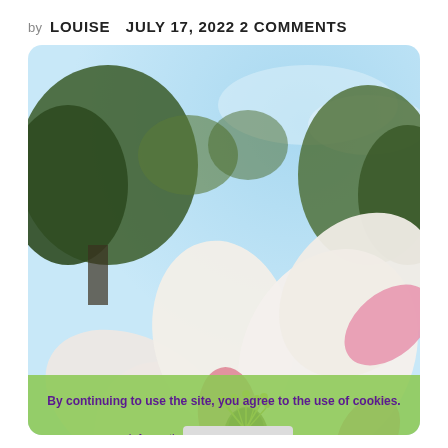by LOUISE   JULY 17, 2022 2 COMMENTS
[Figure (photo): Close-up photo of apple blossoms: white and pink flower petals with yellow stamens in center, pink buds surrounding, green leaves, blurred trees and blue sky in background. A cookie consent banner overlays the lower portion.]